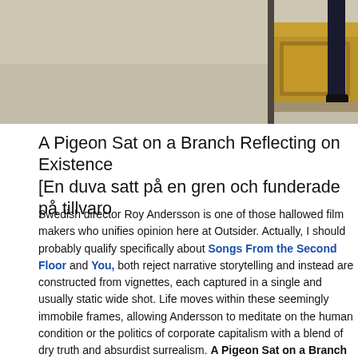[Figure (photo): Partial photo showing a wooden desk/cabinet and a person's legs in dark trousers and black shoes standing to the right, on a light grey floor.]
A Pigeon Sat on a Branch Reflecting on Existence [En duva satt på en gren och funderade på tillvaro
Swedish director Roy Andersson is one of those hallowed filmmakers who unifies opinion here at Outsider. Actually, I should probably qualify that, specifically about Songs From the Second Floor and You, the Living. Both reject narrative storytelling and instead are constructed from a series of vignettes, each captured in a single and usually static wide shot. Life moves within these seemingly immobile frames, allowing Andersson to meditate on the human condition or the politics of corporate capitalism with a blend of dry truth and absurdist surrealism. A Pigeon Sat on a Branch R... film in his self-proclaimed 'Living' trilogy that began with the t... terms of style and content is more of the same, but you'll find... the instant hook of the interconnected opening scenes of You... Andersson in full creative flow, and there's not a scene here t... smile on my face; despite knowing that digital manipulation h... sequence in which the country's present and its military past... dropping for the background action alone.